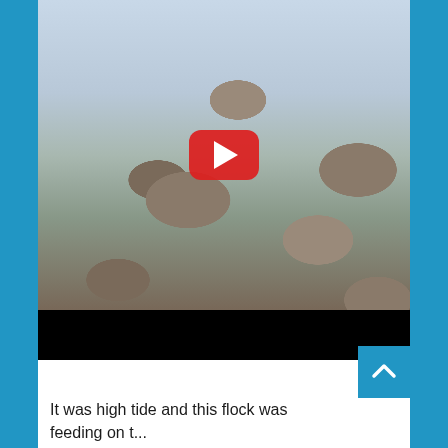[Figure (screenshot): A YouTube video thumbnail showing a flock of shorebirds (sandpipers/dunlins) feeding on a rocky, watery shoreline at high tide. A red YouTube play button is overlaid in the center. Below the thumbnail is a black bar (video controls area). A blue scroll-to-top button with a caret/chevron up arrow is visible at the bottom right.]
It was high tide and this flock was feeding on t...